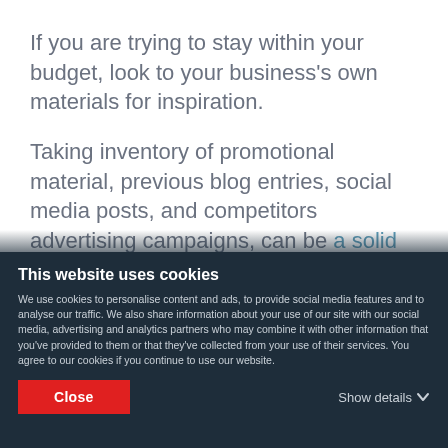If you are trying to stay within your budget, look to your business's own materials for inspiration.
Taking inventory of promotional material, previous blog entries, social media posts, and competitors advertising campaigns, can be a solid starting point in creating additional high-quality content that helps you better reach your target audience.
This website uses cookies
We use cookies to personalise content and ads, to provide social media features and to analyse our traffic. We also share information about your use of our site with our social media, advertising and analytics partners who may combine it with other information that you've provided to them or that they've collected from your use of their services. You agree to our cookies if you continue to use our website.